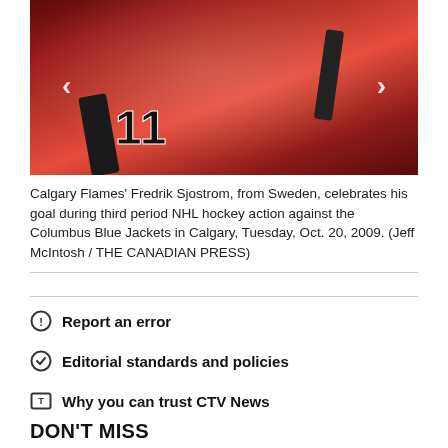[Figure (photo): Calgary Flames hockey player Fredrik Sjostrom wearing jersey number 11 in red uniform, celebrating a goal, with fans in background]
Calgary Flames' Fredrik Sjostrom, from Sweden, celebrates his goal during third period NHL hockey action against the Columbus Blue Jackets in Calgary, Tuesday, Oct. 20, 2009. (Jeff McIntosh / THE CANADIAN PRESS)
Report an error
Editorial standards and policies
Why you can trust CTV News
DON'T MISS